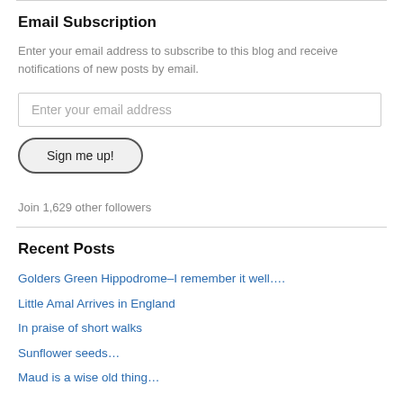Email Subscription
Enter your email address to subscribe to this blog and receive notifications of new posts by email.
Enter your email address
Sign me up!
Join 1,629 other followers
Recent Posts
Golders Green Hippodrome–I remember it well….
Little Amal Arrives in England
In praise of short walks
Sunflower seeds…
Maud is a wise old thing…